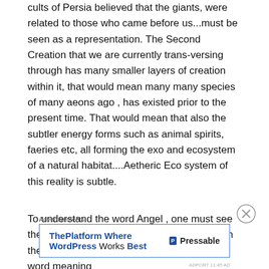cults of Persia believed that the giants, were related to those who came before us...must be seen as a representation. The Second Creation that we are currently trans-versing through has many smaller layers of creation within it, that would mean many many species of many aeons ago , has existed prior to the present time. That would mean that also the subtler energy forms such as animal spirits, faeries etc, all forming the exo and ecosystem of a natural habitat....Aetheric Eco system of this reality is subtle.
To understand the word Angel , one must see the meaning of the word, : Angel derives from the Greek angelos, a translation of a Hebrew word meaning
[Figure (other): Advertisement banner for Pressable WordPress hosting with close button overlay]